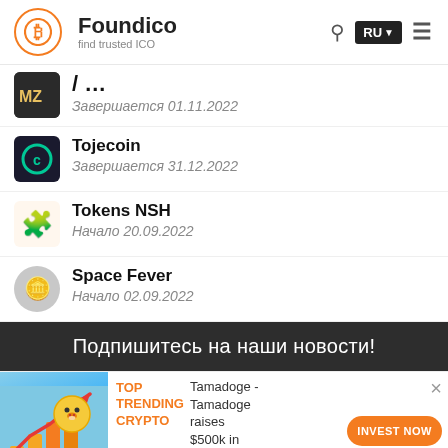Foundico — find trusted ICO
Завершается 01.11.2022
Tojecoin — Завершается 31.12.2022
Tokens NSH — Начало 20.09.2022
Space Fever — Начало 02.09.2022
Подпишитесь на наши новости!
[Figure (advertisement): Crypto trending ad banner with dog coin mascot and rising bar chart. Text: TOP TRENDING CRYPTO. Tamadoge - Tamadoge raises $500k in last 24 hours. INVEST NOW button.]